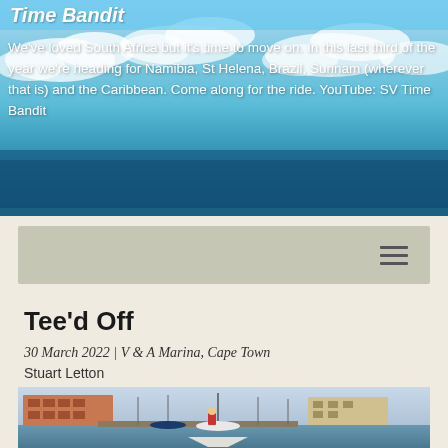Time Bandit
We've loved South Africa but it's time to move on. In this last third of the year we're heading for Namibia, St Helena, Brazil, Surinam (wherever that is) and the Caribbean. Come along for the ride. YouTube: SV Time Bandit
Tee'd Off
30 March 2022 | V & A Marina, Cape Town
Stuart Letton
[Figure (photo): Person on the bow of a sailboat at V & A Marina, Cape Town, with marina buildings and other boats in the background]